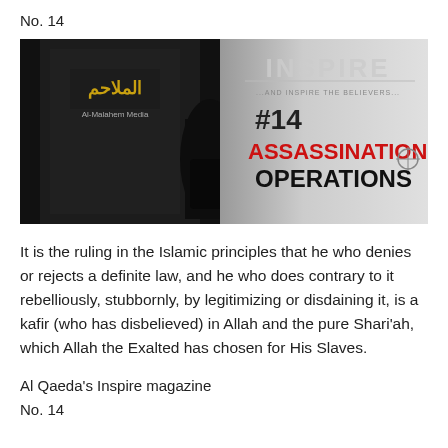No. 14
[Figure (illustration): Cover image of Al Qaeda's Inspire magazine No. 14 showing a black and white image of a person holding a weapon, with Arabic text and logo on the left, and on the right the INSPIRE magazine title, subtitle text, and bold text reading '#14 ASSASSINATION OPERATIONS' with ASSASSINATION in red and OPERATIONS in dark/black bold text.]
It is the ruling in the Islamic principles that he who denies or rejects a definite law, and he who does contrary to it rebelliously, stubbornly, by legitimizing or disdaining it, is a kafir (who has disbelieved) in Allah and the pure Shari'ah, which Allah the Exalted has chosen for His Slaves.
Al Qaeda's Inspire magazine
No. 14